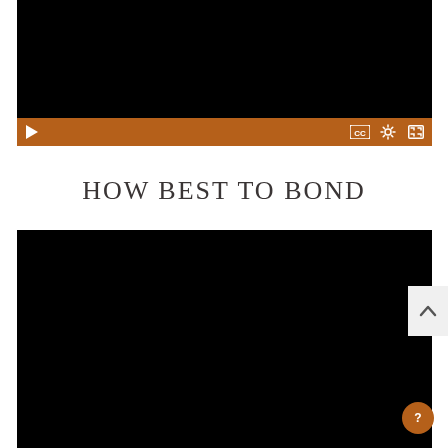[Figure (screenshot): Black video player screen (top), paused state]
[Figure (screenshot): Video player control bar in brown/orange with play button on left and CC, settings, fullscreen icons on right]
HOW BEST TO BOND
[Figure (screenshot): Black video player screen (bottom), second video or continuation]